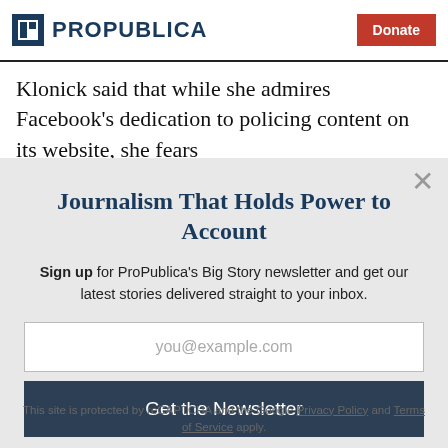ProPublica | Donate
Klonick said that while she admires Facebook's dedication to policing content on its website, she fears
Journalism That Holds Power to Account
Sign up for ProPublica's Big Story newsletter and get our latest stories delivered straight to your inbox.
you@example.com
Get the Newsletter
No thanks, I'm all set
This site is protected by reCAPTCHA and the Google Privacy Policy and Terms of Service apply.